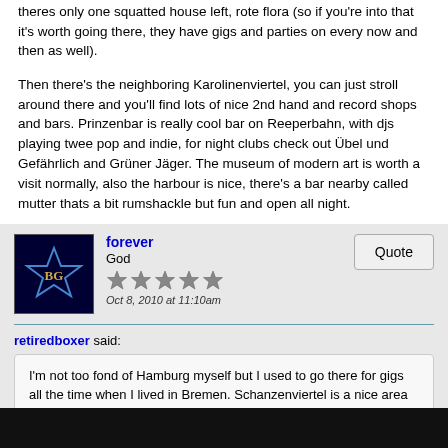theres only one squatted house left, rote flora (so if you're into that it's worth going there, they have gigs and parties on every now and then as well).
Then there's the neighboring Karolinenviertel, you can just stroll around there and you'll find lots of nice 2nd hand and record shops and bars. Prinzenbar is really cool bar on Reeperbahn, with djs playing twee pop and indie, for night clubs check out Übel und Gefährlich and Grüner Jäger. The museum of modern art is worth a visit normally, also the harbour is nice, there's a bar nearby called mutter thats a bit rumshackle but fun and open all night.
forever
God
Oct 8, 2010 at 11:10am
retiredboxer said:
I'm not too fond of Hamburg myself but I used to go there for gigs all the time when I lived in Bremen. Schanzenviertel is a nice area to check out, the former squat district, though it gets more gentrified by the day and theres only one squatted house left, rote flora (so if you're into that it's worth going there, they have gigs and parties on every now and then as well).